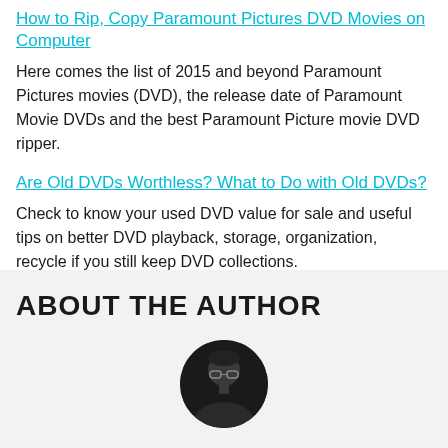How to Rip, Copy Paramount Pictures DVD Movies on Computer
Here comes the list of 2015 and beyond Paramount Pictures movies (DVD), the release date of Paramount Movie DVDs and the best Paramount Picture movie DVD ripper.
Are Old DVDs Worthless? What to Do with Old DVDs?
Check to know your used DVD value for sale and useful tips on better DVD playback, storage, organization, recycle if you still keep DVD collections.
ABOUT THE AUTHOR
[Figure (photo): Circular author portrait photo showing a person with glasses against a dark background]